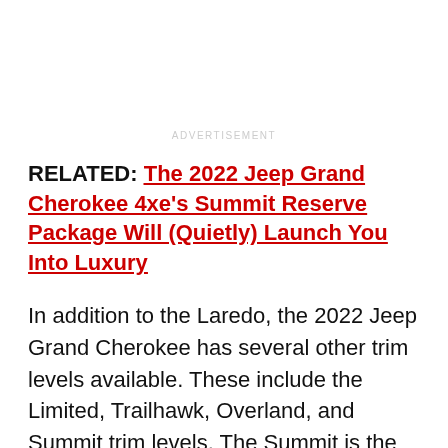ADVERTISEMENT
RELATED: The 2022 Jeep Grand Cherokee 4xe's Summit Reserve Package Will (Quietly) Launch You Into Luxury
In addition to the Laredo, the 2022 Jeep Grand Cherokee has several other trim levels available. These include the Limited, Trailhawk, Overland, and Summit trim levels. The Summit is the most high-end Jeep Grand Cherokee available and it begins at $59,160.